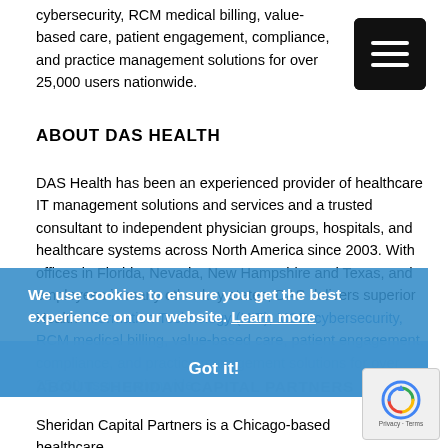cybersecurity, RCM medical billing, value-based care, patient engagement, compliance, and practice management solutions for over 25,000 users nationwide.
[Figure (other): Black hamburger menu icon button with three horizontal white lines on dark background]
ABOUT DAS HEALTH
DAS Health has been an experienced provider of healthcare IT management solutions and services and a trusted consultant to independent physician groups, hospitals, and healthcare systems across North America since 2003. With offices in Florida, Nevada, New Hampshire and Texas, and employees in many other key states, DAS delivers superior Health Information Technology (HIT), MSP, cybersecurity, RCM medical billing, value-based care, patient engagement, compliance, and practice management solutions for over 25,000 users nationwide.
We use cookies to ensure you get the best experience on our website. Learn more
Got it!
ABOUT SHERIDAN CAPITAL PARTNERS
Sheridan Capital Partners is a Chicago-based healthcare
[Figure (other): reCAPTCHA widget with spinning arrow logo and Privacy - Terms text]